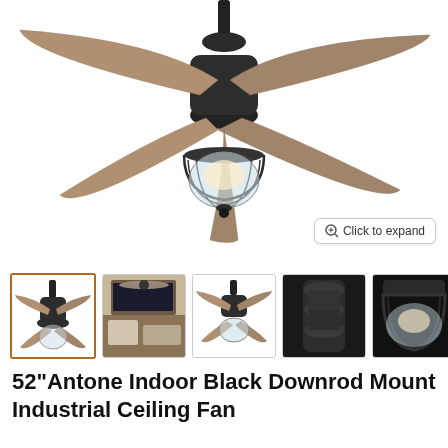[Figure (photo): Main product photo of a 52-inch black industrial ceiling fan with 5 wood-finish blades and a glass cage light fixture, shown on white background]
Click to expand
[Figure (photo): Thumbnail 1: ceiling fan product shot on white background (selected/active)]
[Figure (photo): Thumbnail 2: ceiling fan installed in a living room]
[Figure (photo): Thumbnail 3: ceiling fan product shot from below on white background]
[Figure (photo): Thumbnail 4: close-up of ceiling fan motor housing]
[Figure (photo): Thumbnail 5: close-up of ceiling fan light cage]
[Figure (photo): Thumbnail 6: partial view of ceiling fan blades (cropped)]
52"Antone Indoor Black Downrod Mount Industrial Ceiling Fan